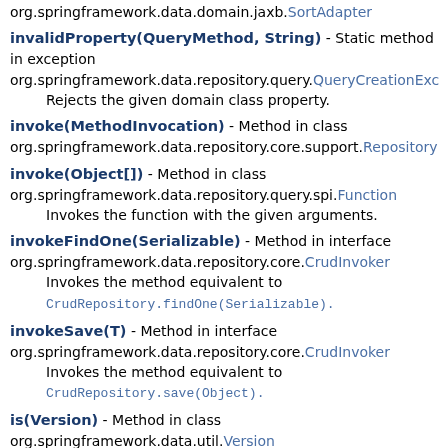org.springframework.data.domain.jaxb.SortAdapter
invalidProperty(QueryMethod, String) - Static method in exception org.springframework.data.repository.query.QueryCreationException
  Rejects the given domain class property.
invoke(MethodInvocation) - Method in class org.springframework.data.repository.core.support.RepositoryFactorySupport
invoke(Object[]) - Method in class org.springframework.data.repository.query.spi.Function
  Invokes the function with the given arguments.
invokeFindOne(Serializable) - Method in interface org.springframework.data.repository.core.CrudInvoker
  Invokes the method equivalent to CrudRepository.findOne(Serializable).
invokeSave(T) - Method in interface org.springframework.data.repository.core.CrudInvoker
  Invokes the method equivalent to CrudRepository.save(Object).
is(Version) - Method in class org.springframework.data.util.Version
  Returns whether the current Version is the same as the given one.
isAlternative() - Method in class org.springframework.data.repository.cdi.CdiRepositoryBean